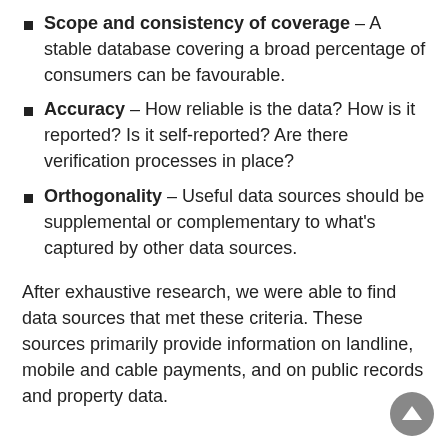Scope and consistency of coverage – A stable database covering a broad percentage of consumers can be favourable.
Accuracy – How reliable is the data? How is it reported? Is it self-reported? Are there verification processes in place?
Orthogonality – Useful data sources should be supplemental or complementary to what's captured by other data sources.
After exhaustive research, we were able to find data sources that met these criteria. These sources primarily provide information on landline, mobile and cable payments, and on public records and property data.